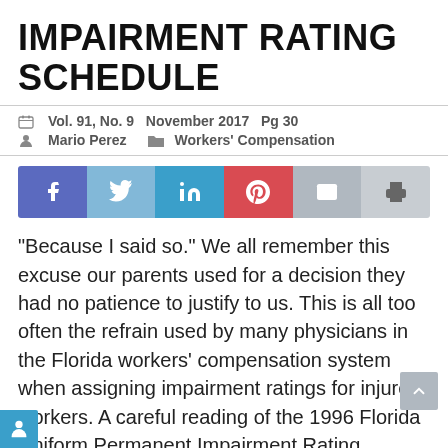IMPAIRMENT RATING SCHEDULE
Vol. 91, No. 9   November 2017   Pg 30
Mario Perez   Workers' Compensation
[Figure (other): Social media sharing bar with Facebook, Twitter, LinkedIn, Pinterest, Email, and Print buttons]
“Because I said so.” We all remember this excuse our parents used for a decision they had no patience to justify to us. This is all too often the refrain used by many physicians in the Florida workers’ compensation system when assigning impairment ratings for injured workers. A careful reading of the 1996 Florida Uniform Permanent Impairment Rating Schedule reveals that many of the ratings physicians assign to injured workers in the Florida workers’